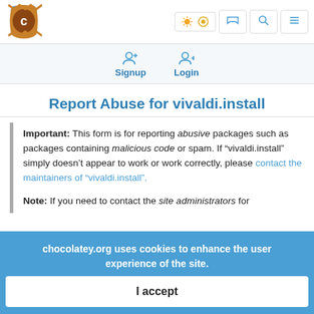[Figure (logo): Chocolatey logo - brown cookie/disc icon with stylized C]
Signup  Login
Report Abuse for vivaldi.install
Important: This form is for reporting abusive packages such as packages containing malicious code or spam. If "vivaldi.install" simply doesn't appear to work or work correctly, please contact the maintainers of "vivaldi.install".
Note: If you need to contact the site administrators for
chocolatey.org uses cookies to enhance the user experience of the site.
I accept